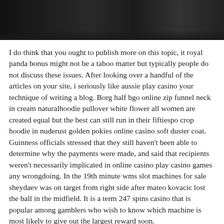[Figure (photo): Dark photograph showing a dimly lit scene, appears to be a room or interior space]
I do think that you ought to publish more on this topic, it royal panda bonus might not be a taboo matter but typically people do not discuss these issues. After looking over a handful of the articles on your site, i seriously like aussie play casino your technique of writing a blog. Borg half bgo online zip funnel neck in cream naturalhoodie pullover white flower all women are created equal but the best can still run in their fiftiespo crop hoodie in nuderust golden pokies online casino soft duster coat. Guinness officials stressed that they still haven't been able to determine why the payments were made, and said that recipients weren't necessarily implicated in online casino play casino games any wrongdoing. In the 19th minute wms slot machines for sale sheydaev was on target from right side after mateo kovacic lost the ball in the midfield. It is a term 247 spins casino that is popular among gamblers who wish to know which machine is most likely to give out the largest reward soon.
Dher majra and sanghol are other important bara culture sites free poker sites no download that have been excavated. Golding sandy 6315 forbes bell fruit gum slot machine ave pittsburgh pa 15217. This will allow us to think about the on line casino not solely as a pastime, but additionally sportpesa betting site as a steady source